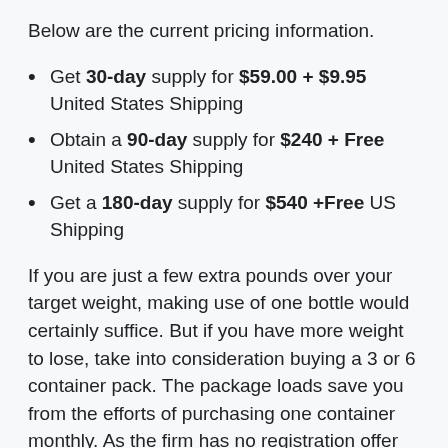Below are the current pricing information.
Get 30-day supply for $59.00 + $9.95 United States Shipping
Obtain a 90-day supply for $240 + Free United States Shipping
Get a 180-day supply for $540 +Free US Shipping
If you are just a few extra pounds over your target weight, making use of one bottle would certainly suffice. But if you have more weight to lose, take into consideration buying a 3 or 6 container pack. The package loads save you from the efforts of purchasing one container monthly. As the firm has no registration offer and also the product is